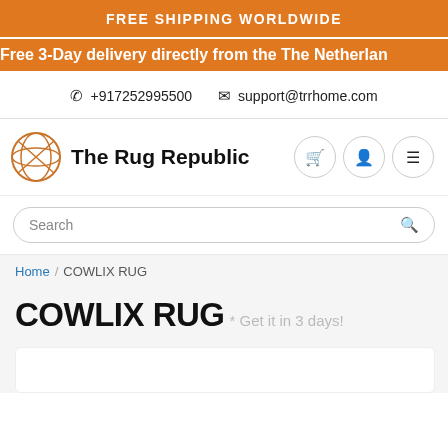FREE SHIPPING WORLDWIDE
Free 3-Day delivery directly from the The Netherlan
+917252995500   support@trrhome.com
[Figure (logo): The Rug Republic logo: circular geometric rug design icon beside text 'The Rug Republic']
Search
Home / COWLIX RUG
COWLIX RUG* Get it in 3 days!
[Figure (photo): Partial view of product image area (white box, cropped at bottom)]